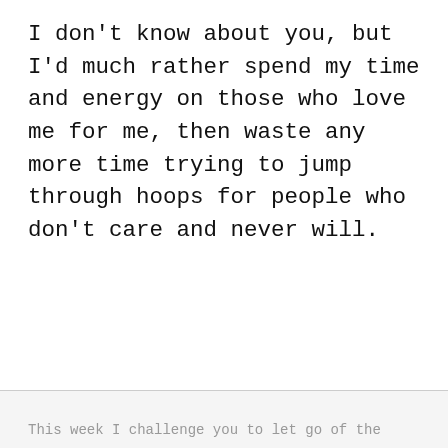I don't know about you, but I'd much rather spend my time and energy on those who love me for me, then waste any more time trying to jump through hoops for people who don't care and never will.
This week I challenge you to let go of the